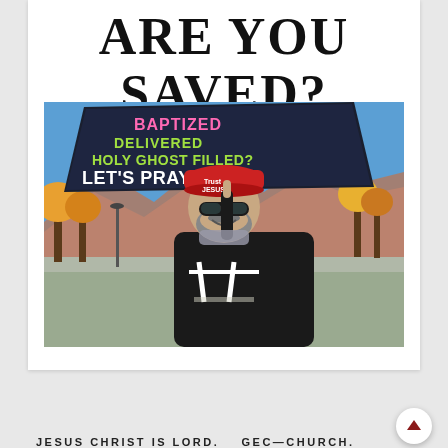ARE YOU SAVED?
[Figure (photo): A man wearing a red 'Trust Jesus' cap, sunglasses, and a black long-sleeve shirt holds up a large dark sign that reads 'BAPTIZED... DELIVERED... HOLY GHOST FILLED? LET'S PRAY!' with colorful text. He is smiling outdoors with autumn trees, mountains, and blue sky in the background.]
JESUS CHRIST IS LORD.    GEC—CHURCH.